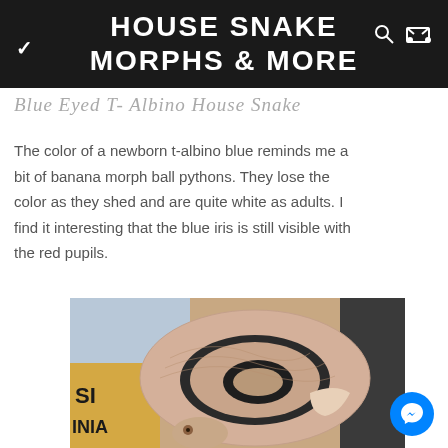HOUSE SNAKE MORPHS & MORE
Blue Eyed T- Albino House Snake
The color of a newborn t-albino blue reminds me a bit of banana morph ball pythons. They lose the color as they shed and are quite white as adults. I find it interesting that the blue iris is still visible with the red pupils.
[Figure (photo): A coiled pale/pink house snake (Blue Eyed T-Albino) resting on what appears to be magazines or papers]